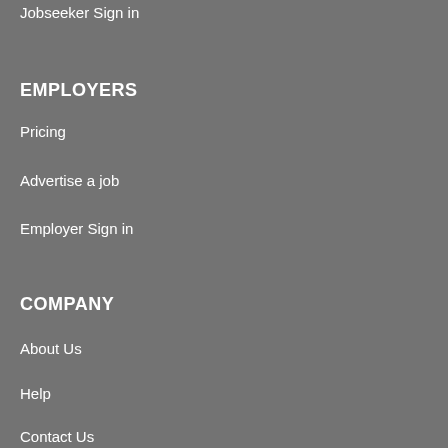Jobseeker Sign in
EMPLOYERS
Pricing
Advertise a job
Employer Sign in
COMPANY
About Us
Help
Contact Us